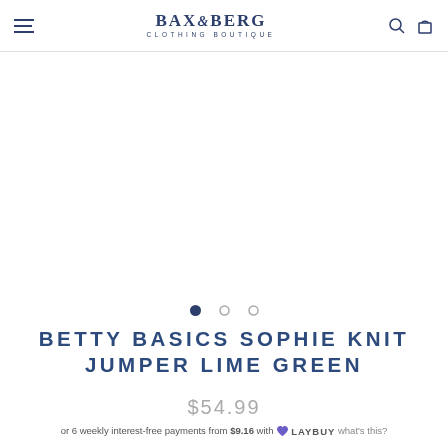BAX & BERG CLOTHING BOUTIQUE
[Figure (other): Product image area - white/empty product image carousel for Betty Basics Sophie Knit Jumper Lime Green]
● ○ ○ (carousel navigation dots)
BETTY BASICS SOPHIE KNIT JUMPER LIME GREEN
$54.99
or 6 weekly interest-free payments from $9.16 with Laybuy what's this?